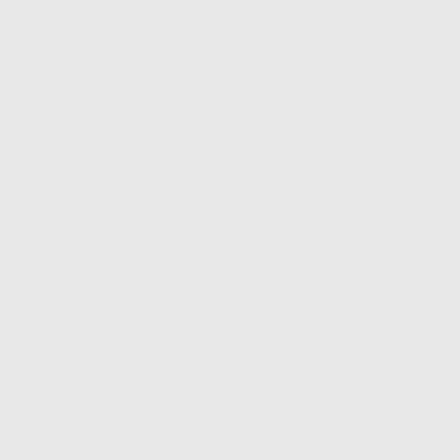[Figure (screenshot): Code snippet showing keystone configuration variables in a monospace font, partially visible on the right side of the page. Includes variable names and comments in teal/blue italic for section headers.]